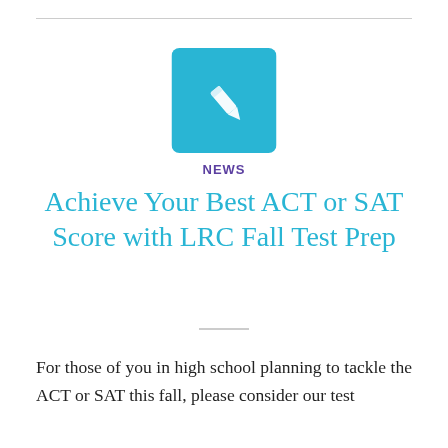[Figure (logo): Teal/cyan square icon with a white pencil symbol]
NEWS
Achieve Your Best ACT or SAT Score with LRC Fall Test Prep
For those of you in high school planning to tackle the ACT or SAT this fall, please consider our test